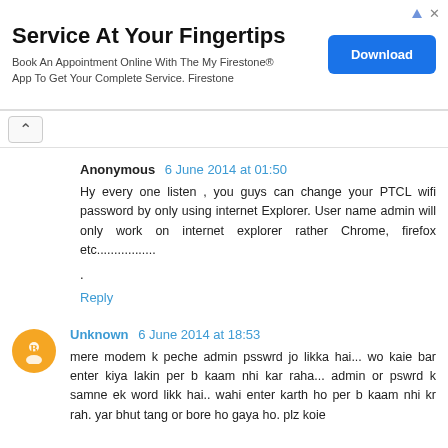[Figure (screenshot): Advertisement banner: 'Service At Your Fingertips' with Download button]
Hy every one listen , you guys can change your PTCL wifi password by only using internet Explorer. User name admin will only work on internet explorer rather Chrome, firefox etc.................
.
Reply
mere modem k peche admin psswrd jo likka hai... wo kaie bar enter kiya lakin per b kaam nhi kar raha... admin or pswrd k samne ek word likk hai.. wahi enter karth ho per b kaam nhi kr rah. yar bhut tang or bore ho gaya ho. plz koie